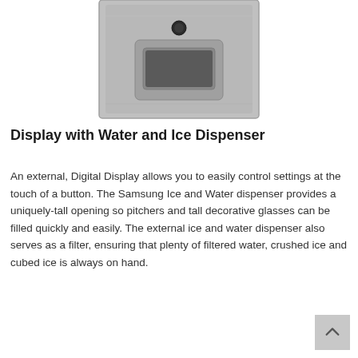[Figure (photo): Close-up product photo of a Samsung refrigerator door panel showing the ice and water dispenser area in brushed stainless steel finish, with a recessed rectangular dispenser window and a circular black button above it.]
Display with Water and Ice Dispenser
An external, Digital Display allows you to easily control settings at the touch of a button. The Samsung Ice and Water dispenser provides a uniquely-tall opening so pitchers and tall decorative glasses can be filled quickly and easily. The external ice and water dispenser also serves as a filter, ensuring that plenty of filtered water, crushed ice and cubed ice is always on hand.